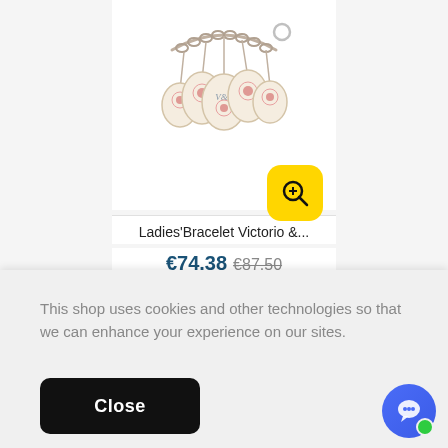[Figure (photo): Ladies bracelet with chain and oval charm pendants featuring floral/rose designs and monogram, product photo on white background]
Ladies'Bracelet Victorio &...
€74.38  €87.50
This shop uses cookies and other technologies so that we can enhance your experience on our sites.
Close